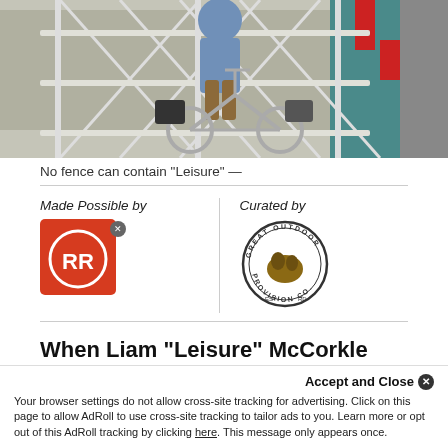[Figure (photo): Person on a bicycle behind metal fence/scaffolding structure, with bags on the bike, outdoors on a street]
No fence can contain "Leisure" —
Made Possible by
[Figure (logo): RR logo — red square with circular RR letters badge, with small X button]
Curated by
[Figure (logo): Great Outdoor Provision Co. circular logo with bear/outdoor scene]
When Liam “Leisure” McCorkle returned to The States after a two-year post in the Czech Republic, he picked up his old passion for...
Your browser settings do not allow cross-site tracking for advertising. Click on this page to allow AdRoll to use cross-site tracking to tailor ads to you. Learn more or opt out of this AdRoll tracking by clicking here. This message only appears once.